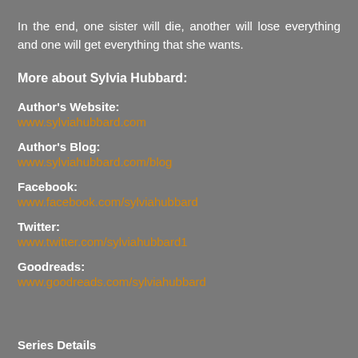In the end, one sister will die, another will lose everything and one will get everything that she wants.
More about Sylvia Hubbard:
Author's Website:
www.sylviahubbard.com
Author's Blog:
www.sylviahubbard.com/blog
Facebook:
www.facebook.com/sylviahubbard
Twitter:
www.twitter.com/sylviahubbard1
Goodreads:
www.goodreads.com/sylviahubbard
Series Details